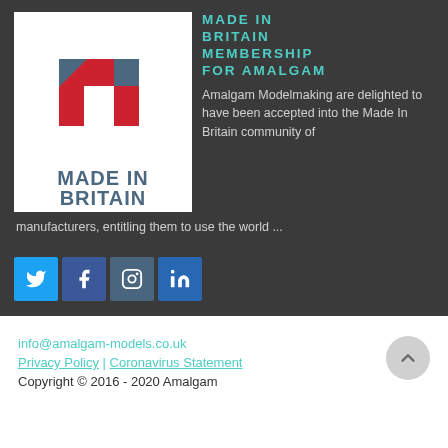[Figure (logo): Made In Britain logo with red and blue arrow graphic and text 'MADE IN BRITAIN']
MADE IN BRITAIN MEMBERSHIP FOR AMALGAM
Amalgam Modelmaking are delighted to have been accepted into the Made In Britain community of manufacturers, entitling them to use the world ...
[Figure (other): Social media icon buttons: Twitter (blue), Facebook (dark blue), Instagram (grey-blue), LinkedIn (blue)]
info@amalgam-models.co.uk
Privacy Policy | Coronavirus Statement
Copyright © 2016 - 2020 Amalgam